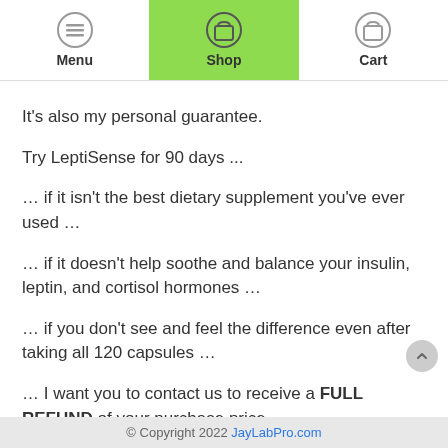Menu | Shop | Cart
It's also my personal guarantee.
Try LeptiSense for 90 days ...
… if it isn't the best dietary supplement you've ever used …
… if it doesn't help soothe and balance your insulin, leptin, and cortisol hormones …
… if you don't see and feel the difference even after taking all 120 capsules …
… I want you to contact us to receive a FULL REFUND of your purchase price.
© Copyright 2022 JayLabPro.com